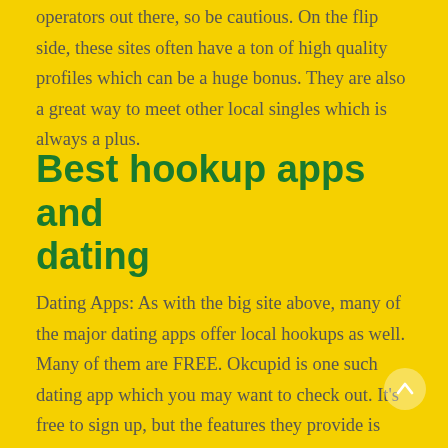operators out there, so be cautious. On the flip side, these sites often have a ton of high quality profiles which can be a huge bonus. They are also a great way to meet other local singles which is always a plus.
Best hookup apps and dating
Dating Apps: As with the big site above, many of the major dating apps offer local hookups as well. Many of them are FREE. Okcupid is one such dating app which you may want to check out. It's free to sign up, but the features they provide is pretty impressive. You can find dates from across the country, and they've even provided a special feature where you can easily s the likes and dislikes of people you are interested in.